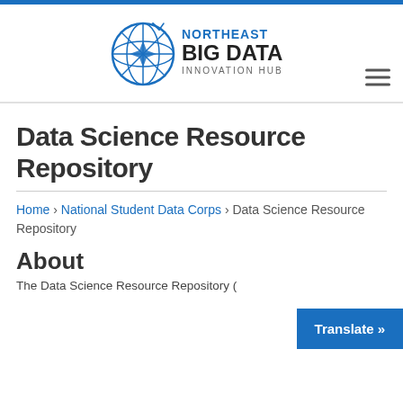[Figure (logo): Northeast Big Data Innovation Hub logo with compass/globe icon and text]
Data Science Resource Repository
Home › National Student Data Corps › Data Science Resource Repository
About
The Data Science Resource Repository (
[Figure (other): Translate button in blue]